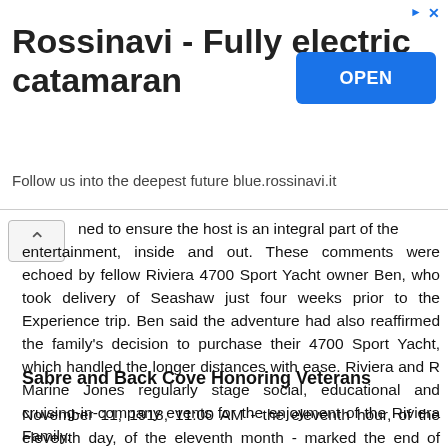[Figure (other): Advertisement banner for Rossinavi - Fully electric catamaran with OPEN button and tagline 'Follow us into the deepest future blue.rossinavi.it']
ned to ensure the host is an integral part of the entertainment, inside and out. These comments were echoed by fellow Riviera 4700 Sport Yacht owner Ben, who took delivery of Seashaw just four weeks prior to the Experience trip. Ben said the adventure had also reaffirmed the family's decision to purchase their 4700 Sport Yacht, which handled the longer distances with ease. Riviera and R Marine Jones regularly stage social, educational and cruising-in-company events for the enjoyment of the Riviera Family.
Sabre and Back Cove Honoring Veterans
November 11, 1918, 11:00 AM - the eleventh hour, of the eleventh day, of the eleventh month - marked the end of fighting between the Allied and German forces in the first